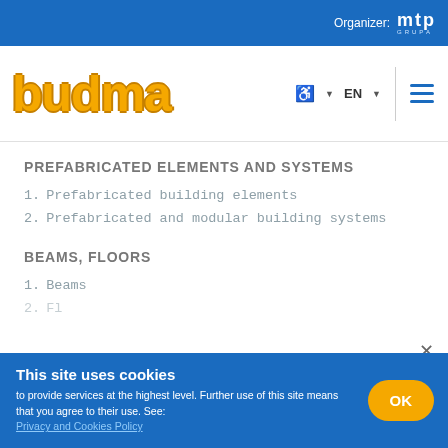Organizer: mtp GRUPA
[Figure (logo): Budma logo in yellow/orange bold text with navigation bar including accessibility icon, EN language selector, and hamburger menu]
PREFABRICATED ELEMENTS AND SYSTEMS
1. Prefabricated building elements
2. Prefabricated and modular building systems
BEAMS, FLOORS
1. Beams
This site uses cookies
to provide services at the highest level. Further use of this site means that you agree to their use. See: Privacy and Cookies Policy